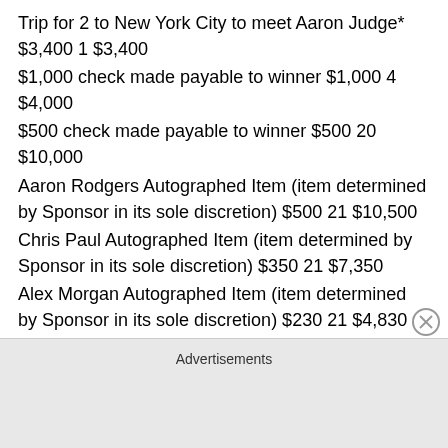Trip for 2 to New York City to meet Aaron Judge* $3,400 1 $3,400
$1,000 check made payable to winner $1,000 4 $4,000
$500 check made payable to winner $500 20 $10,000
Aaron Rodgers Autographed Item (item determined by Sponsor in its sole discretion) $500 21 $10,500
Chris Paul Autographed Item (item determined by Sponsor in its sole discretion) $350 21 $7,350
Alex Morgan Autographed Item (item determined by Sponsor in its sole discretion) $230 21 $4,830
Aaron Judge Autographed Item (item determined by Sponsor in its sole discretion) $40 21 $840
Rawlings Custom Baseball Glove+ $380 3 $1,140
Advertisements